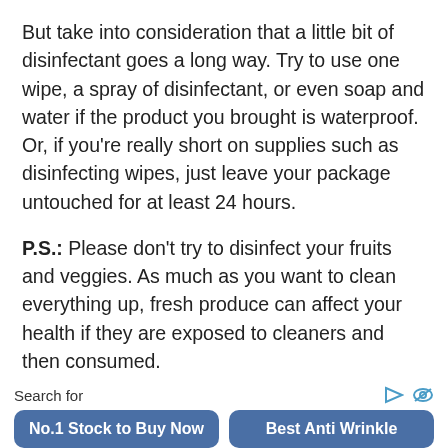But take into consideration that a little bit of disinfectant goes a long way. Try to use one wipe, a spray of disinfectant, or even soap and water if the product you brought is waterproof. Or, if you're really short on supplies such as disinfecting wipes, just leave your package untouched for at least 24 hours.
P.S.: Please don't try to disinfect your fruits and veggies. As much as you want to clean everything up, fresh produce can affect your health if they are exposed to cleaners and then consumed.
Search for
No.1 Stock to Buy Now
Best Anti Wrinkle